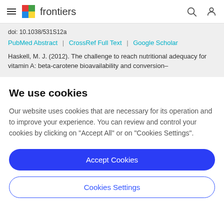frontiers
doi: 10.1038/531S12a
PubMed Abstract | CrossRef Full Text | Google Scholar
Haskell, M. J. (2012). The challenge to reach nutritional adequacy for vitamin A: beta-carotene bioavailability and conversion–
We use cookies
Our website uses cookies that are necessary for its operation and to improve your experience. You can review and control your cookies by clicking on "Accept All" or on "Cookies Settings".
Accept Cookies
Cookies Settings